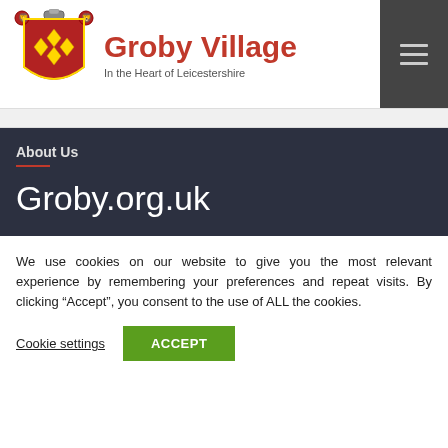Groby Village — In the Heart of Leicestershire
About Us
Groby.org.uk
We use cookies on our website to give you the most relevant experience by remembering your preferences and repeat visits. By clicking “Accept”, you consent to the use of ALL the cookies.
Cookie settings | ACCEPT